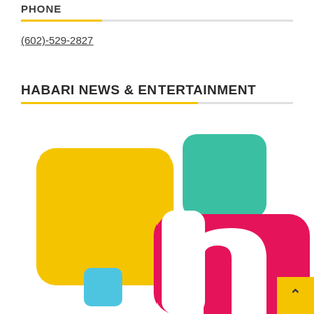PHONE
(602)-529-2827
HABARI NEWS & ENTERTAINMENT
[Figure (logo): Habari News & Entertainment logo with colorful rounded squares (yellow, teal, cyan) and a crimson/pink letter 'h' on white background, plus a yellow back-to-top button with caret]